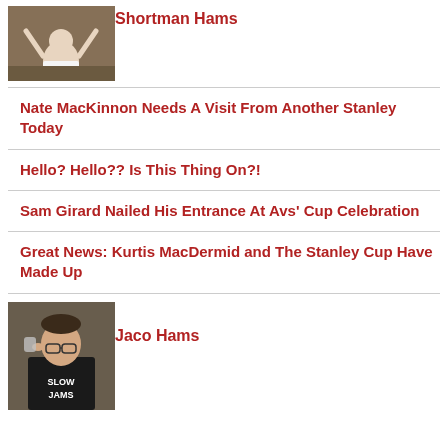[Figure (photo): Photo of Shortman Hams, person with arms raised]
Shortman Hams
Nate MacKinnon Needs A Visit From Another Stanley Today
Hello? Hello?? Is This Thing On?!
Sam Girard Nailed His Entrance At Avs' Cup Celebration
Great News: Kurtis MacDermid and The Stanley Cup Have Made Up
[Figure (photo): Photo of Jaco Hams, person in Slow Jams t-shirt drinking]
Jaco Hams